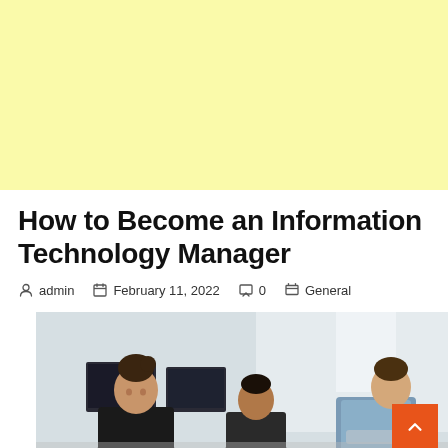[Figure (other): Light yellow advertisement banner placeholder at the top of the page]
How to Become an Information Technology Manager
admin   February 11, 2022   0   General
[Figure (photo): Office scene with people working at computers; one woman with hair up in foreground, another person in center, and a man in background leaning over. Office environment with monitors visible.]